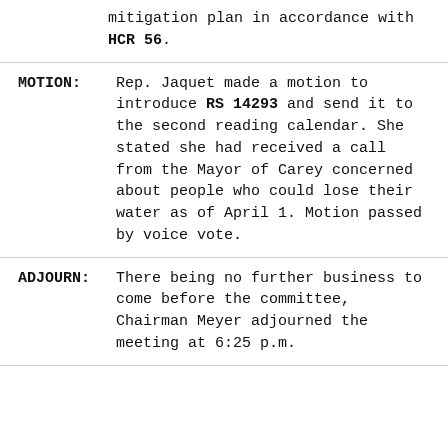mitigation plan in accordance with HCR 56.
MOTION: Rep. Jaquet made a motion to introduce RS 14293 and send it to the second reading calendar. She stated she had received a call from the Mayor of Carey concerned about people who could lose their water as of April 1. Motion passed by voice vote.
ADJOURN: There being no further business to come before the committee, Chairman Meyer adjourned the meeting at 6:25 p.m.
DATE: March 20, 2004